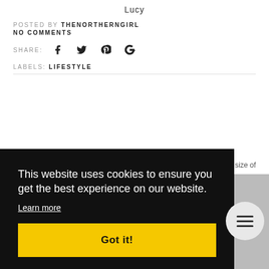Lucy
POSTED BY THENORTHERNGIRL
NO COMMENTS
SHARE:
LABELS: LIFESTYLE
This website uses cookies to ensure you get the best experience on our website.
Learn more
Got it!
size of
it is that big. However, the gardens do need a lot of work on